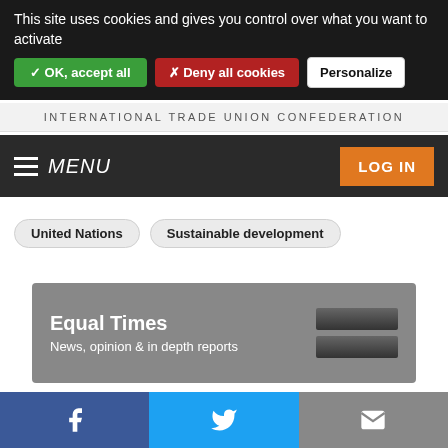This site uses cookies and gives you control over what you want to activate
✓ OK, accept all
✗ Deny all cookies
Personalize
INTERNATIONAL TRADE UNION CONFEDERATION
MENU
LOG IN
United Nations
Sustainable development
Equal Times
News, opinion & in depth reports
Search